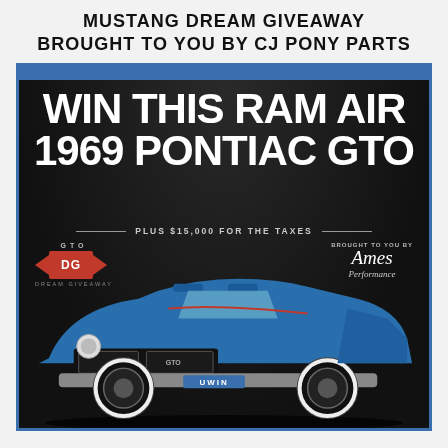MUSTANG DREAM GIVEAWAY BROUGHT TO YOU BY CJ PONY PARTS
[Figure (photo): Advertisement image for a giveaway featuring a blue 1969 Pontiac GTO convertible muscle car, with large white bold text reading 'WIN THIS RAM AIR 1969 PONTIAC GTO', subtext 'PLUS $15,000 FOR THE TAXES', GTO Dream Giveaway logo on the left, 'Brought to you by Ames Performance' on the right, and a UWIN badge on the car's bumper. Blue header bar at top of ad.]